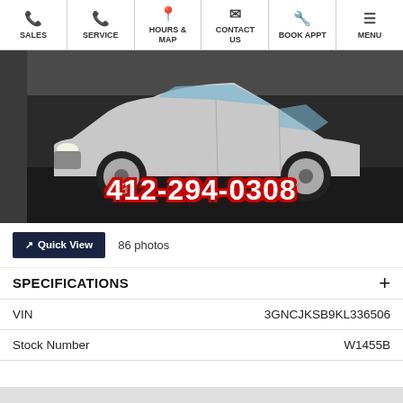SALES | SERVICE | HOURS & MAP | CONTACT US | BOOK APPT | MENU
[Figure (photo): Silver Chevrolet Trax SUV photographed from the side in a parking lot, with phone number 412-294-0308 overlaid in large white text with red outline]
Quick View  86 photos
SPECIFICATIONS
| Field | Value |
| --- | --- |
| VIN | 3GNCJKSB9KL336506 |
| Stock Number | W1455B |